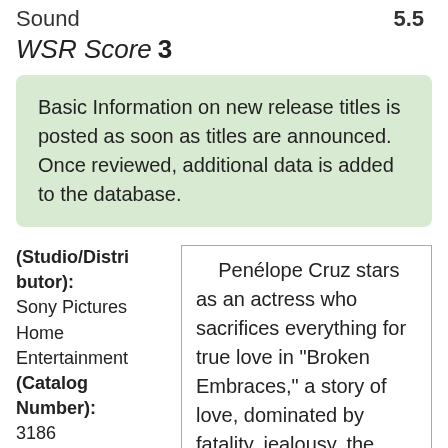Sound  5.5
WSR Score  3
Basic Information on new release titles is posted as soon as titles are announced. Once reviewed, additional data is added to the database.
(Studio/Distributor): Sony Pictures Home Entertainment
(Catalog Number): 3186
(MPAA Rating):
Penélope Cruz stars as an actress who sacrifices everything for true love in "Broken Embraces," a story of love, dominated by fatality, jealousy, the abuse of power, treachery, and a guilt complex. The story follows a man who writes, lives, and loves in darkness. Fourteen years